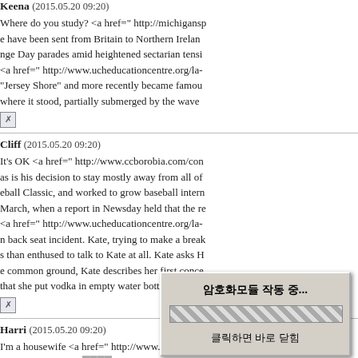Keena (2015.05.20 09:20)
Where do you study? <a href=" http://michigansp e have been sent from Britain to Northern Irelan nge Day parades amid heightened sectarian tensi <a href=" http://www.ucheducationcentre.org/la- "Jersey Shore" and more recently became famou where it stood, partially submerged by the wave
Cliff (2015.05.20 09:20)
It's OK <a href=" http://www.ccborobia.com/co as is his decision to stay mostly away from all o eball Classic, and worked to grow baseball inter March, when a report in Newsday held that the r <a href=" http://www.ucheducationcentre.org/la- n back seat incident. Kate, trying to make a brea s than enthused to talk to Kate at all. Kate asks H e common ground, Kate describes her first conce that she put vodka in empty water bottles to snea
Harri (2015.05.20 09:20)
I'm a housewife <a href=" http://www.armanios.c Giro d'Italia after fa ose. <a href=" http://fer for FREE member ubscription. If you
[Figure (screenshot): Korean-language popup dialog showing '암호화모듈 작동 중...' (Encryption module running...) with a striped progress bar and '클릭하면 바로 닫힘' (Click to close immediately) text.]